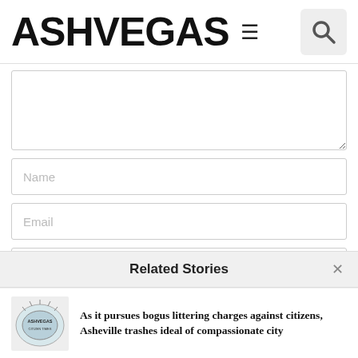ASHVEGAS
[Figure (screenshot): Web form with textarea, Name field, and Email field]
Related Stories
As it pursues bogus littering charges against citizens, Asheville trashes ideal of compassionate city